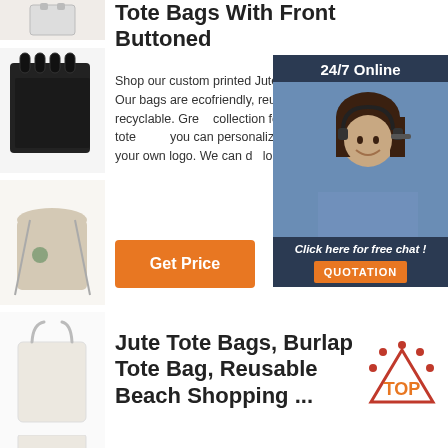[Figure (photo): Small white tote bag thumbnail at top]
[Figure (photo): Black burlap jute tote bags with handles]
[Figure (photo): Beige drawstring jute bag with logo]
[Figure (photo): Plain cream canvas tote with black handles]
Tote Bags With Front Buttoned
Shop our custom printed Jute Burlap tote bag. Our bags are ecofriendly, reusable and recyclable. Great collection for promotional tote you can personalize and print with your own logo. We can do logo for free.
[Figure (infographic): 24/7 Online chat widget with customer service representative photo and 'Click here for free chat!' text and QUOTATION button]
[Figure (photo): Cream colored reusable shopping tote bag]
[Figure (photo): Light beige tote bag partial view]
Jute Tote Bags, Burlap Tote Bag, Reusable Beach Shopping ...
[Figure (logo): TOP badge logo in orange and dark red with dots]